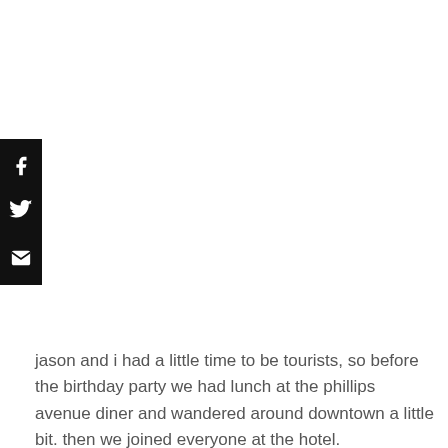[Figure (other): Social share sidebar with Facebook, Twitter, and Email icons on black background]
jason and i had a little time to be tourists, so before the birthday party we had lunch at the phillips avenue diner and wandered around downtown a little bit. then we joined everyone at the hotel.